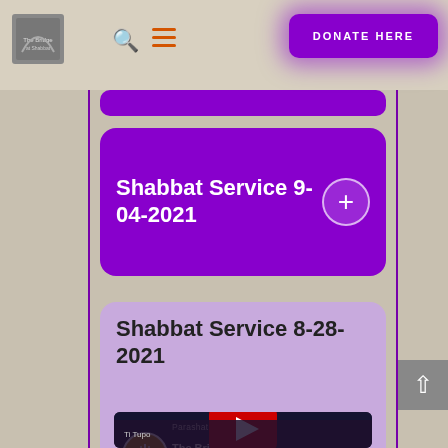[Figure (screenshot): Website header with logo image, search icon, hamburger menu icon, and purple DONATE HERE button with glow effect]
[Figure (screenshot): Partially visible purple card at top of content area]
Shabbat Service 9-04-2021
Shabbat Service 8-28-2021
[Figure (screenshot): YouTube video thumbnail for The Bridge At S... showing menorah channel icon, video title, with Hebrew text, Devarim reference, Acts 16-18, red play button overlay, and bottom content strip with 'Ti Tupo']